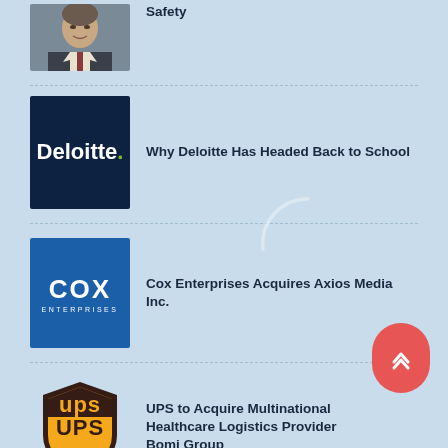[Figure (photo): Partial view of a man in a suit, cropped at top]
Safety
[Figure (logo): Deloitte logo on dark navy background]
Why Deloitte Has Headed Back to School
[Figure (logo): Cox Enterprises logo on blue background]
Cox Enterprises Acquires Axios Media Inc.
[Figure (logo): UPS shield logo]
UPS to Acquire Multinational Healthcare Logistics Provider Bomi Group
[Figure (logo): Partial purple logo at bottom]